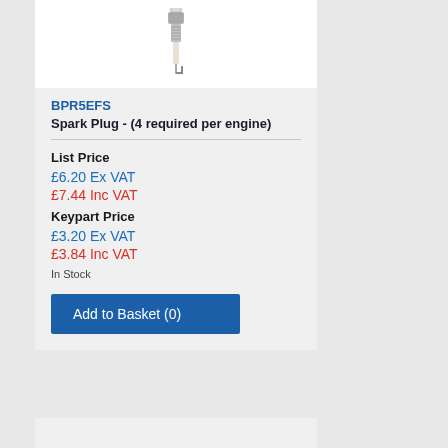[Figure (photo): Spark plug product image on white background]
BPR5EFS
Spark Plug - (4 required per engine)
List Price
£6.20 Ex VAT
£7.44 Inc VAT
Keypart Price
£3.20 Ex VAT
£3.84 Inc VAT
In Stock
Add to Basket (0)